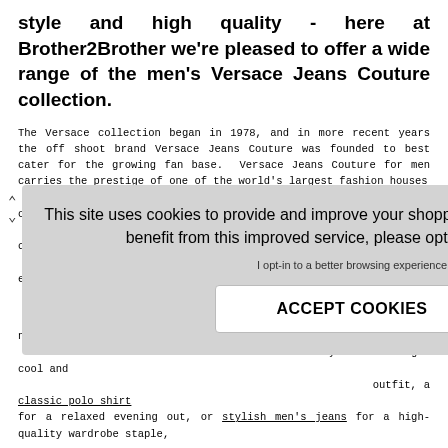style and high quality - here at Brother2Brother we're pleased to offer a wide range of the men's Versace Jeans Couture collection.
The Versace collection began in 1978, and in more recent years the off shoot brand Versace Jeans Couture was founded to best cater for the growing fan base. Versace Jeans Couture for men carries the prestige of one of the world's largest fashion houses with a focus on current pieces, seasonal fashions, and an on-trend collection that is constantly being updated. Here, high-end denim meets stylish casual wear, bringing a collection you can mix and match for a reflection that can easily be worked into your everyday wardrobe or for a more edgier edge.
[Figure (other): Cookie consent overlay popup with message: 'This site uses cookies to provide and improve your shopping experience. If you want to benefit from this improved service, please opt-in. Cookies Page.' with opt-in text and ACCEPT COOKIES button]
the brand name signifies a still holding onto the same outure carry an extensive el, all suitable for casual y look.
trust, look no further than you're wanting a cool and outfit, a classic polo shirt for a relaxed evening out, or stylish men's jeans for a high-quality wardrobe staple,